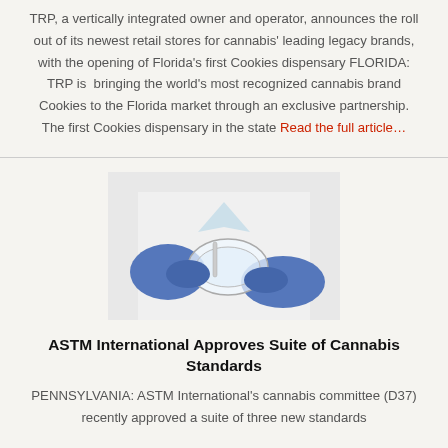TRP, a vertically integrated owner and operator, announces the roll out of its newest retail stores for cannabis' leading legacy brands, with the opening of Florida's first Cookies dispensary FLORIDA: TRP is  bringing the world's most recognized cannabis brand Cookies to the Florida market through an exclusive partnership. The first Cookies dispensary in the state Read the full article…
[Figure (photo): A person wearing a white lab coat and blue rubber gloves working with laboratory equipment, likely related to cannabis testing.]
ASTM International Approves Suite of Cannabis Standards
PENNSYLVANIA: ASTM International's cannabis committee (D37) recently approved a suite of three new standards